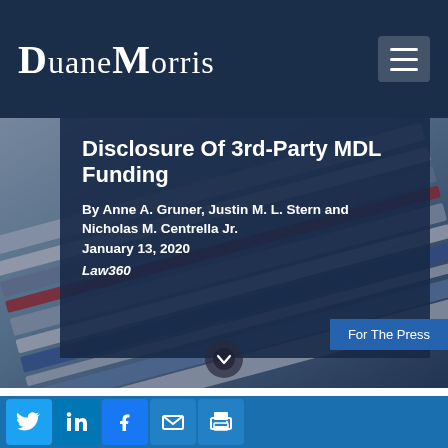DuaneMorris
Disclosure Of 3rd-Party MDL Funding
By Anne A. Gruner, Justin M. L. Stern and Nicholas M. Centrella Jr.
January 13, 2020
Law360
[Figure (photo): Background image of stacked colorful books or folders with blue, red, white tones]
For The Press
It is no secret that third-party litigation funding, or TPLF, has become an increasingly common practice.